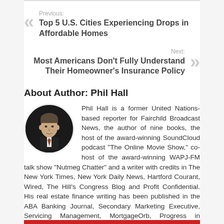Previous: Top 5 U.S. Cities Experiencing Drops in Affordable Homes
Next: Most Americans Don't Fully Understand Their Homeowner's Insurance Policy
About Author: Phil Hall
[Figure (photo): Circular headshot of Phil Hall, a man in a dark suit and tie against a dark background]
Phil Hall is a former United Nations-based reporter for Fairchild Broadcast News, the author of nine books, the host of the award-winning SoundCloud podcast "The Online Movie Show," co-host of the award-winning WAPJ-FM talk show "Nutmeg Chatter" and a writer with credits in The New York Times, New York Daily News, Hartford Courant, Wired, The Hill's Congress Blog and Profit Confidential. His real estate finance writing has been published in the ABA Banking Journal, Secondary Marketing Executive, Servicing Management, MortgageOrb, Progress in Lending, National Mortgage Professional, Mortgage...